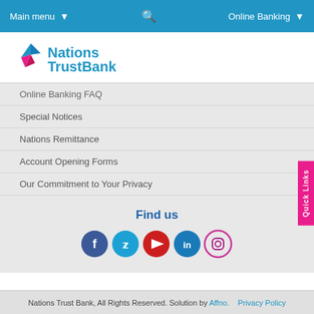Main menu ▾  🔍  Online Banking ▾
[Figure (logo): Nations Trust Bank logo with blue text and pink/blue origami bird icon]
Online Banking FAQ
Special Notices
Nations Remittance
Account Opening Forms
Our Commitment to Your Privacy
Find us
[Figure (infographic): Social media icons row: Facebook (dark blue), Twitter (cyan), YouTube (red), LinkedIn (teal/dark blue), Instagram (gradient circle)]
Nations Trust Bank, All Rights Reserved. Solution by Affno.   Privacy Policy